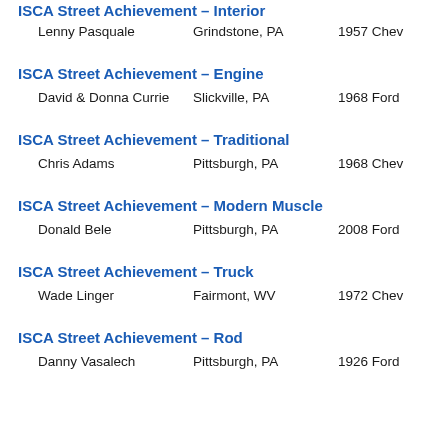ISCA Street Achievement – Interior
Lenny Pasquale   Grindstone, PA   1957 Chev
ISCA Street Achievement – Engine
David & Donna Currie   Slickville, PA   1968 Ford
ISCA Street Achievement – Traditional
Chris Adams   Pittsburgh, PA   1968 Chev
ISCA Street Achievement – Modern Muscle
Donald Bele   Pittsburgh, PA   2008 Ford
ISCA Street Achievement – Truck
Wade Linger   Fairmont, WV   1972 Chev
ISCA Street Achievement – Rod
Danny Vasalech   Pittsburgh, PA   1926 Ford